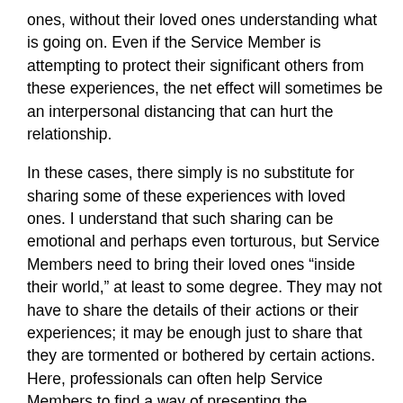ones, without their loved ones understanding what is going on. Even if the Service Member is attempting to protect their significant others from these experiences, the net effect will sometimes be an interpersonal distancing that can hurt the relationship.
In these cases, there simply is no substitute for sharing some of these experiences with loved ones. I understand that such sharing can be emotional and perhaps even torturous, but Service Members need to bring their loved ones “inside their world,” at least to some degree. They may not have to share the details of their actions or their experiences; it may be enough just to share that they are tormented or bothered by certain actions. Here, professionals can often help Service Members to find a way of presenting the experiencesthat allows some sharing while maintaining important boundaries that should not or do not need to be crossed.”